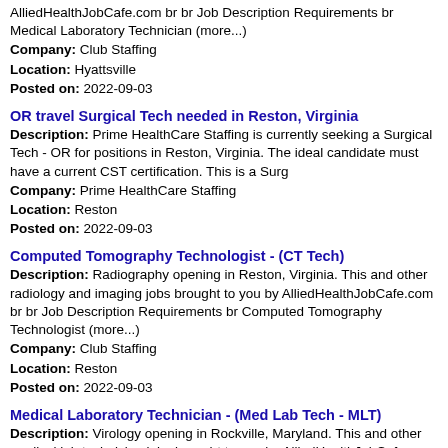AlliedHealthJobCafe.com br br Job Description Requirements br Medical Laboratory Technician (more...)
Company: Club Staffing
Location: Hyattsville
Posted on: 2022-09-03
OR travel Surgical Tech needed in Reston, Virginia
Description: Prime HealthCare Staffing is currently seeking a Surgical Tech - OR for positions in Reston, Virginia. The ideal candidate must have a current CST certification. This is a Surg
Company: Prime HealthCare Staffing
Location: Reston
Posted on: 2022-09-03
Computed Tomography Technologist - (CT Tech)
Description: Radiography opening in Reston, Virginia. This and other radiology and imaging jobs brought to you by AlliedHealthJobCafe.com br br Job Description Requirements br Computed Tomography Technologist (more...)
Company: Club Staffing
Location: Reston
Posted on: 2022-09-03
Medical Laboratory Technician - (Med Lab Tech - MLT)
Description: Virology opening in Rockville, Maryland. This and other medical lab technician jobs brought to you by AlliedHealthJobCafe.com br br Job Description Requirements br